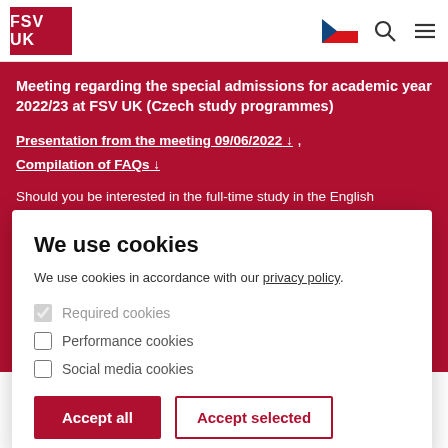FSV UK
Meeting regarding the special admissions for academic year 2022/23 at FSV UK (Czech study programmes)
Presentation from the meeting 09/06/2022 ↓ , Compilation of FAQs ↓
Should you be interested in the full-time study in the English
We use cookies
We use cookies in accordance with our privacy policy.
Required cookies
Performance cookies
Social media cookies
Accept all   Accept selected